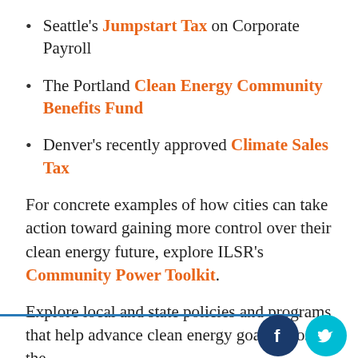Seattle's Jumpstart Tax on Corporate Payroll
The Portland Clean Energy Community Benefits Fund
Denver's recently approved Climate Sales Tax
For concrete examples of how cities can take action toward gaining more control over their clean energy future, explore ILSR's Community Power Toolkit.
Explore local and state policies and programs that help advance clean energy goals across the